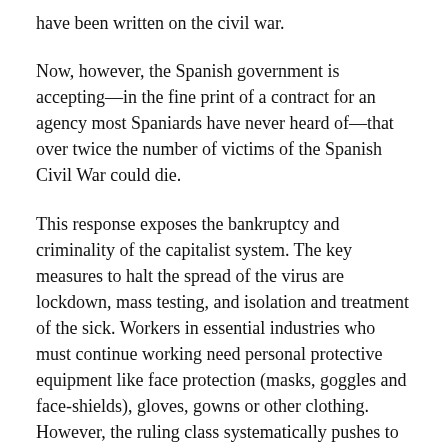have been written on the civil war.
Now, however, the Spanish government is accepting—in the fine print of a contract for an agency most Spaniards have never heard of—that over twice the number of victims of the Spanish Civil War could die.
This response exposes the bankruptcy and criminality of the capitalist system. The key measures to halt the spread of the virus are lockdown, mass testing, and isolation and treatment of the sick. Workers in essential industries who must continue working need personal protective equipment like face protection (masks, goggles and face-shields), gloves, gowns or other clothing. However, the ruling class systematically pushes to run business as usual, risking millions of lives in order to railroad workers back to work to produce profits for the banks and major corporations.